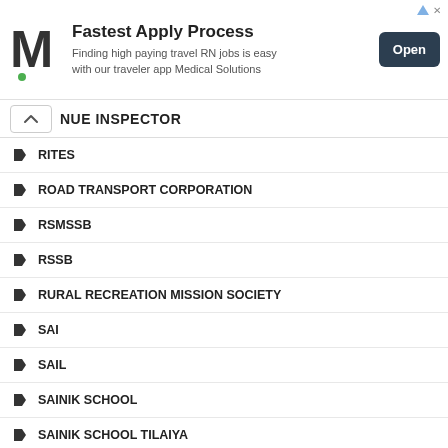[Figure (infographic): Advertisement banner for Medical Solutions showing M logo, 'Fastest Apply Process' headline, subtitle about travel RN jobs, and an Open button]
NUE INSPECTOR
RITES
ROAD TRANSPORT CORPORATION
RSMSSB
RSSB
RURAL RECREATION MISSION SOCIETY
SAI
SAIL
SAINIK SCHOOL
SAINIK SCHOOL TILAIYA
SALESMAN